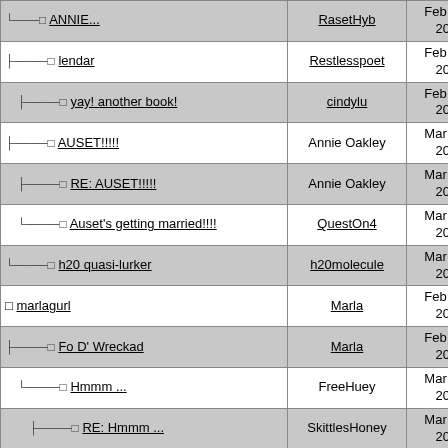| Topic | Author | Date | # |
| --- | --- | --- | --- |
| ANNIE... | RasetHyb | Feb 28th 2001 | 10 |
| lendar | Restlesspoet | Feb 27th 2001 | 19 |
| yay! another book! | cindylu | Feb 27th 2001 | 20 |
| AUSET!!!!! | Annie Oakley | Mar 09th 2001 | 32 |
| RE: AUSET!!!!! | Annie Oakley | Mar 09th 2001 | 33 |
| Auset's getting married!!!! | QuestOn4 | Mar 13th 2001 | 60 |
| h20 quasi-lurker | h20molecule | Mar 13th 2001 | 62 |
| marlagurl | Marla | Feb 26th 2001 | 11 |
| Fo D' Wreckad | Marla | Feb 26th 2001 | 12 |
| Hmmm ... | FreeHuey | Mar 09th 2001 | 26 |
| RE: Hmmm ... | SkittlesHoney | Mar 09th 2001 | 27 |
| are you SugarButt from the other board? | QuestOn4 | Mar 13th 2001 | 57 |
| RE: Hmmm ... | nickelz45 | Mar 11th 2001 | 35 |
| Searching for peace ... understand my pain ... | FreeHuey | Mar 11th 2001 | 36 |
| *speechless* | Hot_Damali | Mar 12th | 40 |